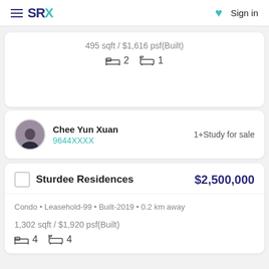SRX  Sign in
495 sqft / $1,616 psf(Built)
2 bedrooms  1 bathroom
Chee Yun Xuan
9644XXXX
1+Study for sale
Sturdee Residences  $2,500,000
Condo • Leasehold-99 • Built-2019 • 0.2 km away
1,302 sqft / $1,920 psf(Built)
4 bedrooms  4 bathrooms